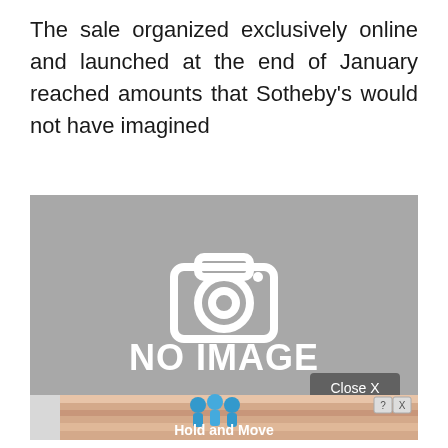The sale organized exclusively online and launched at the end of January reached amounts that Sotheby's would not have imagined
[Figure (photo): No image placeholder with camera icon and 'NO IMAGE' text, with a 'Close X' button overlay and a 'Hold and Move' advertisement banner at the bottom]